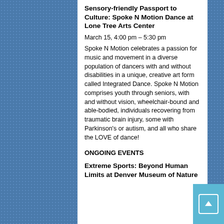Sensory-friendly Passport to Culture: Spoke N Motion Dance at Lone Tree Arts Center
March 15, 4:00 pm – 5:30 pm
Spoke N Motion celebrates a passion for music and movement in a diverse population of dancers with and without disabilities in a unique, creative art form called Integrated Dance. Spoke N Motion comprises youth through seniors, with and without vision, wheelchair-bound and able-bodied, individuals recovering from traumatic brain injury, some with Parkinson's or autism, and all who share the LOVE of dance!
ONGOING EVENTS
Extreme Sports: Beyond Human Limits at Denver Museum of Nature